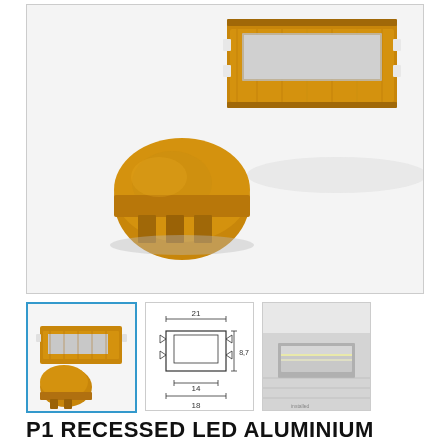[Figure (photo): Product photo of P1 recessed LED aluminium profile in wood-effect finish, showing the channel piece at top right and an end cap piece at bottom left, both in golden/amber wood-tone color, on a white background.]
[Figure (photo): Thumbnail 1: Small photo showing the LED aluminium profile channel and a round end cap piece in amber/wood finish.]
[Figure (engineering-diagram): Thumbnail 2: Technical cross-section drawing of the recessed LED aluminium profile showing dimensions: 21mm width at top, 8.7mm height on right side, 14mm inner width, 18mm outer base width, with mounting clips indicated.]
[Figure (photo): Thumbnail 3: Photo showing the LED aluminium profile installed in a surface, showing LED strip inside the recessed channel from an angle.]
P1 RECESSED LED ALUMINIUM